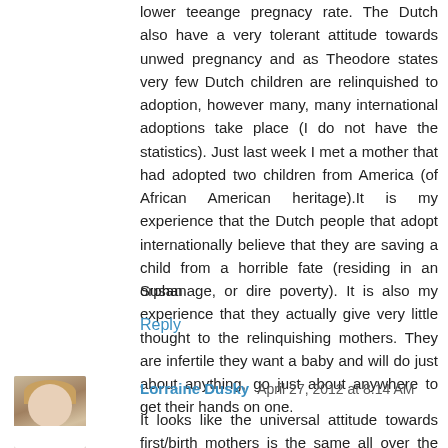lower teeange pregnacy rate. The Dutch also have a very tolerant attitude towards unwed pregnancy and as Theodore states very few Dutch children are relinquished to adoption, however many, many international adoptions take place (I do not have the statistics). Just last week I met a mother that had adopted two children from America (of African American heritage).It is my experience that the Dutch people that adopt internationally believe that they are saving a child from a horrible fate (residing in an orphanage, or dire poverty). It is also my experience that they actually give very little thought to the relinquishing mothers. They are infertile they want a baby and will do just about anything, go just about anywhere to get their hands on one.
Susan
Reply
[Figure (photo): Small avatar photo of Lorraine Dusky, a woman with light hair]
Lorraine Dusky  April 27, 2012 at 8:14 AM
It looks like the universal attitude towards first/birth mothers is the same all over the world: Give us your children, let us save them from dire poverty and horrible living conditions...